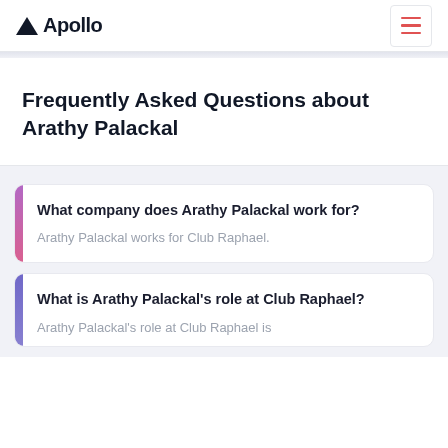Apollo
Frequently Asked Questions about Arathy Palackal
What company does Arathy Palackal work for?
Arathy Palackal works for Club Raphael.
What is Arathy Palackal's role at Club Raphael?
Arathy Palackal's role at Club Raphael is